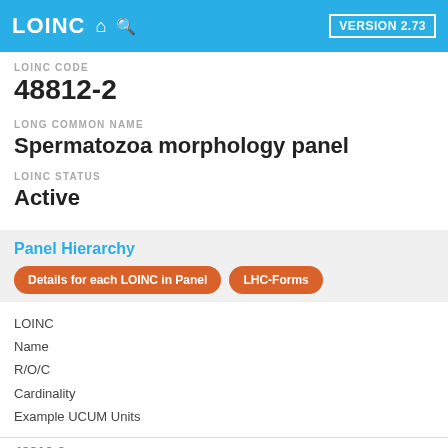LOINC  VERSION 2.73
LOINC CODE
48812-2
LONG COMMON NAME
Spermatozoa morphology panel
LOINC STATUS
Active
Panel Hierarchy
Details for each LOINC in Panel   LHC-Forms
LOINC
Name
R/O/C
Cardinality
Example UCUM Units
48812-2